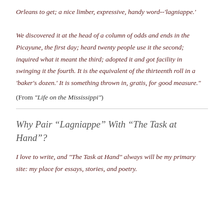Orleans to get; a nice limber, expressive, handy word--'lagniappe.' We discovered it at the head of a column of odds and ends in the Picayune, the first day; heard twenty people use it the second; inquired what it meant the third; adopted it and got facility in swinging it the fourth. It is the equivalent of the thirteenth roll in a 'baker's dozen.' It is something thrown in, gratis, for good measure."
(From "Life on the Mississippi")
Why Pair “Lagniappe” With “The Task at Hand”?
I love to write, and "The Task at Hand" always will be my primary site: my place for essays, stories, and poetry.